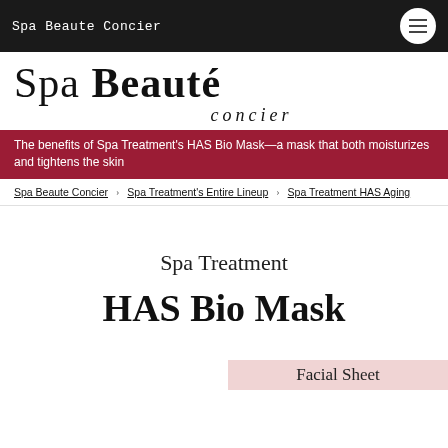Spa Beaute Concier
Spa Beauté concier
The benefits of Spa Treatment's HAS Bio Mask—a mask that both moisturizes and tightens the skin
Spa Beaute Concier   Spa Treatment's Entire Lineup   Spa Treatment HAS Aging
Spa Treatment
HAS Bio Mask
Facial Sheet